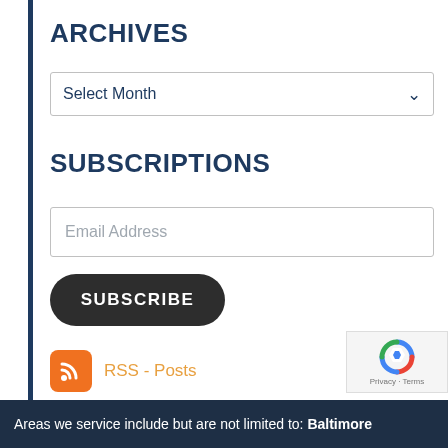ARCHIVES
[Figure (screenshot): Dropdown select box with label 'Select Month' and a chevron arrow on the right]
SUBSCRIPTIONS
[Figure (screenshot): Email address input text box with placeholder text 'Email Address']
[Figure (screenshot): Dark rounded button with text 'SUBSCRIBE']
[Figure (infographic): RSS icon (orange rounded square with white RSS signal icon) and text link 'RSS - Posts' in orange]
[Figure (screenshot): reCAPTCHA widget with blue/red circular arrow logo and 'Privacy - Terms' text]
Areas we service include but are not limited to: Baltimore